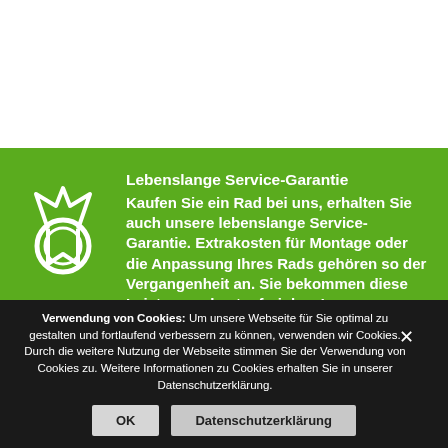[Figure (illustration): Green banner with medal/award ribbon icon on the left and German text about lifetime service guarantee on the right]
Lebenslange Service-Garantie Kaufen Sie ein Rad bei uns, erhalten Sie auch unsere lebenslange Service-Garantie. Extrakosten für Montage oder die Anpassung Ihres Rads gehören so der Vergangenheit an. Sie bekommen diese Leistungen kostenfrei dazu!
Verwendung von Cookies: Um unsere Webseite für Sie optimal zu gestalten und fortlaufend verbessern zu können, verwenden wir Cookies. Durch die weitere Nutzung der Webseite stimmen Sie der Verwendung von Cookies zu. Weitere Informationen zu Cookies erhalten Sie in unserer Datenschutzerklärung.